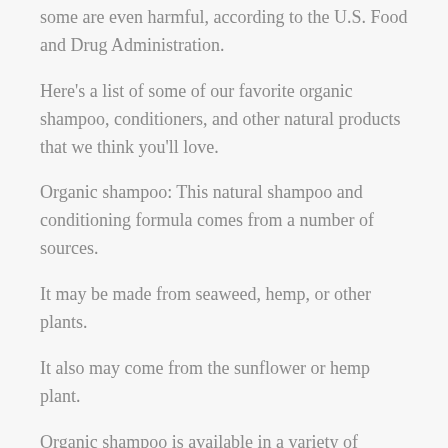some are even harmful, according to the U.S. Food and Drug Administration.
Here's a list of some of our favorite organic shampoo, conditioners, and other natural products that we think you'll love.
Organic shampoo: This natural shampoo and conditioning formula comes from a number of sources.
It may be made from seaweed, hemp, or other plants.
It also may come from the sunflower or hemp plant.
Organic shampoo is available in a variety of shapes and sizes, including gel and spray forms.